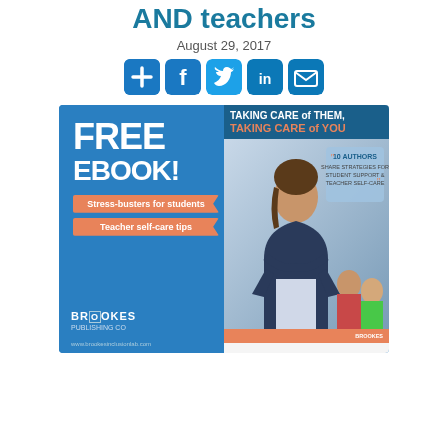AND teachers
August 29, 2017
[Figure (infographic): Social sharing buttons: plus/add, Facebook, Twitter, LinkedIn, email icons in blue rounded squares]
[Figure (infographic): Brookes Publishing advertisement banner for a free ebook 'Taking Care of Them, Taking Care of You' featuring a teacher photo, stress-busters for students and teacher self-care tips, with Brookes Publishing Co logo and www.brookesinclusionlab.com]